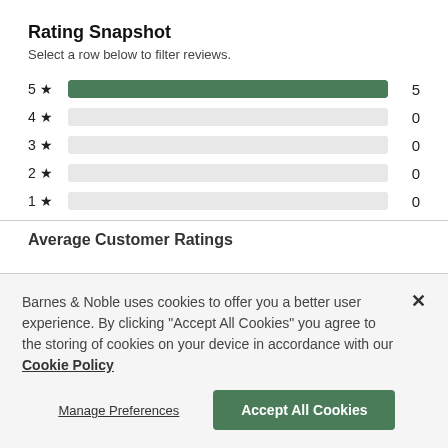Rating Snapshot
Select a row below to filter reviews.
[Figure (bar-chart): Rating Snapshot]
Average Customer Ratings
Barnes & Noble uses cookies to offer you a better user experience. By clicking "Accept All Cookies" you agree to the storing of cookies on your device in accordance with our Cookie Policy
Manage Preferences
Accept All Cookies